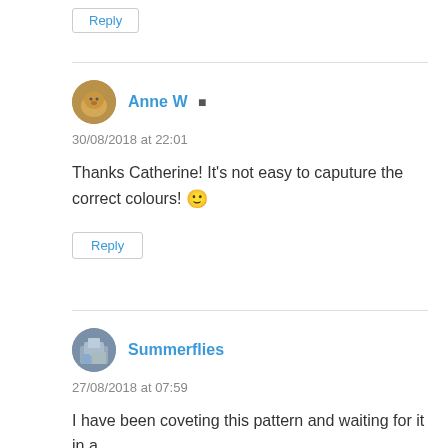Reply
Anne W  [user icon]
30/08/2018 at 22:01
Thanks Catherine! It's not easy to caputure the correct colours! 🙂
Reply
Summerflies
27/08/2018 at 07:59
I have been coveting this pattern and waiting for it in a